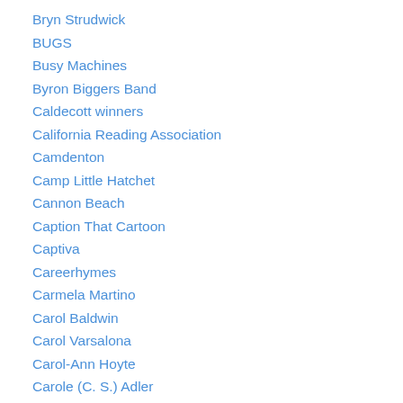Bryn Strudwick
BUGS
Busy Machines
Byron Biggers Band
Caldecott winners
California Reading Association
Camdenton
Camp Little Hatchet
Cannon Beach
Caption That Cartoon
Captiva
Careerhymes
Carmela Martino
Carol Baldwin
Carol Varsalona
Carol-Ann Hoyte
Carole (C. S.) Adler
Carrie Alkier
CASA Christmas cards
Catherine Flynn